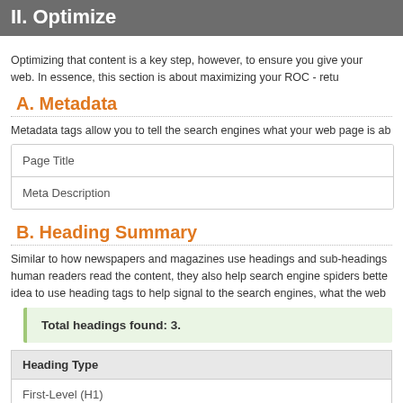II. Optimize
Optimizing that content is a key step, however, to ensure you give your web. In essence, this section is about maximizing your ROC - retu
A. Metadata
Metadata tags allow you to tell the search engines what your web page is ab
| Page Title |
| Meta Description |
B. Heading Summary
Similar to how newspapers and magazines use headings and sub-headings human readers read the content, they also help search engine spiders bette idea to use heading tags to help signal to the search engines, what the web
Total headings found: 3.
| Heading Type |
| --- |
| First-Level (H1) |
| Second Level (H2) |